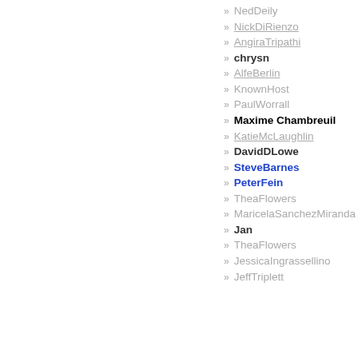» NedDeily
» NickDiRienzo
» AngiraTripathi
» chrysn
» AlfeBerlin
» KnownHost
» PaulWorrall
» Maxime Chambreuil
» KatieMcLaughlin
» DavidDLowe
» SteveBarnes
» PeterFein
» TheaFlowers
» MaricelaS anchezMiranda
» Jan
» TheaFlowers
» JessicaIngrassellino
» JeffTriplett